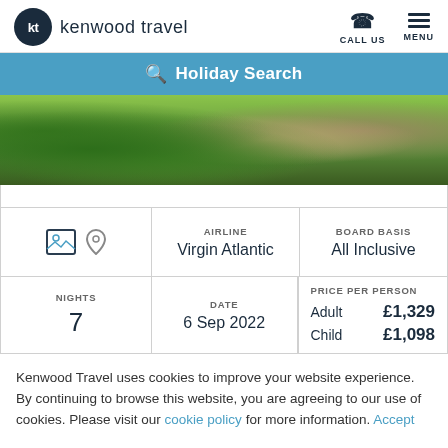kenwood travel - CALL US | MENU
Holiday Search
[Figure (photo): Tropical beach scene with green palm-like plants in foreground and sandy beach in background]
|  | AIRLINE | BOARD BASIS | NIGHTS | DATE | PRICE PER PERSON |
| --- | --- | --- | --- | --- | --- |
| [image icon] [pin icon] | Virgin Atlantic | All Inclusive |  |  |  |
|  |  |  | 7 | 6 Sep 2022 | Adult £1,329
Child £1,098 |
Kenwood Travel uses cookies to improve your website experience. By continuing to browse this website, you are agreeing to our use of cookies. Please visit our cookie policy for more information. Accept